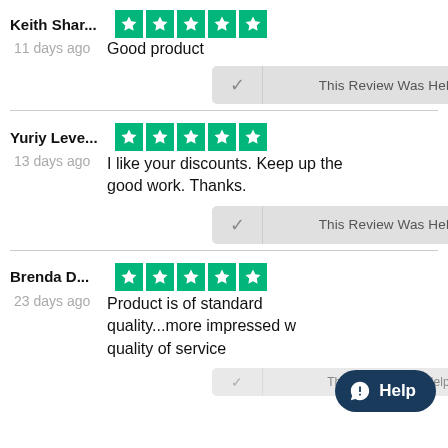Keith Shar...
11 days ago
Good product
This Review Was Helpful
Yuriy Leve...
13 days ago
I like your discounts. Keep up the good work. Thanks.
This Review Was Helpful
Brenda D...
23 days ago
Product is of standard quality...more impressed w quality of service
This Review Was Helpful
[Figure (other): Help chat button overlay]